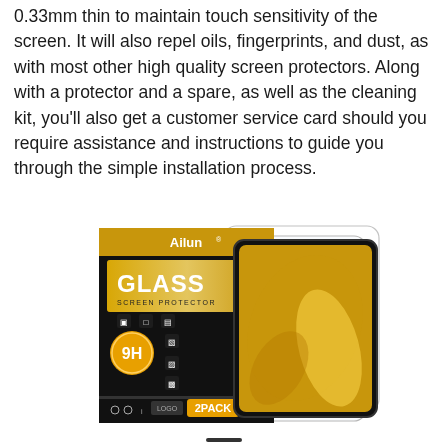0.33mm thin to maintain touch sensitivity of the screen. It will also repel oils, fingerprints, and dust, as with most other high quality screen protectors. Along with a protector and a spare, as well as the cleaning kit, you'll also get a customer service card should you require assistance and instructions to guide you through the simple installation process.
[Figure (photo): Product photo of Ailun Glass Screen Protector 2-pack box alongside two clear screen protector sheets. The black box features gold text reading 'Ailun GLASS SCREEN PROTECTOR' with a 9H hardness rating badge and '2PACK' label at the bottom.]